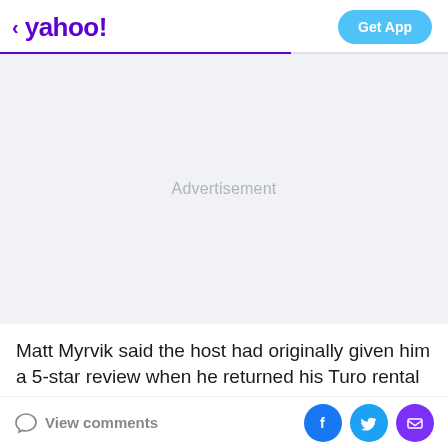< yahoo!  Get App
[Figure (other): Advertisement placeholder area with light gray background and centered 'Advertisement' label text]
Matt Myrvik said the host had originally given him a 5-star review when he returned his Turo rental at
View comments  [Facebook] [Twitter] [Email]